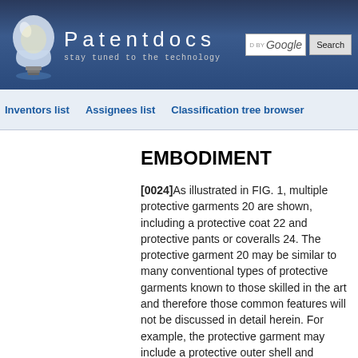[Figure (logo): Patentdocs website header with light bulb logo, site name 'Patentdocs', tagline 'stay tuned to the technology', and Google search bar with Search button]
Inventors list   Assignees list   Classification tree browser
EMBODIMENT
[0024]As illustrated in FIG. 1, multiple protective garments 20 are shown, including a protective coat 22 and protective pants or coveralls 24. The protective garment 20 may be similar to many conventional types of protective garments known to those skilled in the art and therefore those common features will not be discussed in detail herein. For example, the protective garment may include a protective outer shell and